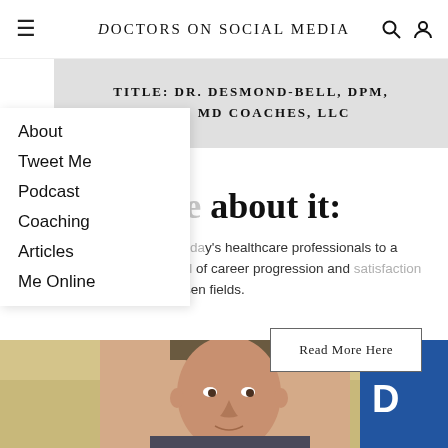Doctors on Social Media
TITLE: DR. DESMOND-BELL, DPM, CWS, MD COACHES, LLC
About
Tweet Me
Podcast
Coaching
Articles
Me Online
More about it:
Coaching today's healthcare professionals to a greater level of career progression and satisfaction in their chosen fields.
Read More Here
[Figure (photo): Portrait photo of Dr. Desmond-Bell, a man in professional attire, with a blue sign visible on the right side]